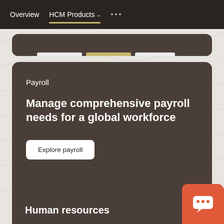Overview  HCM Products  •••
Payroll
Manage comprehensive payroll needs for a global workforce
Explore payroll
Human resources